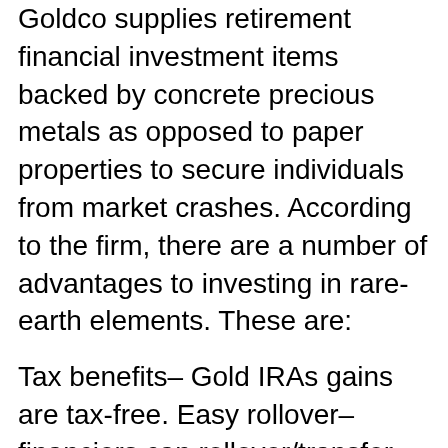Goldco supplies retirement financial investment items backed by concrete precious metals as opposed to paper properties to secure individuals from market crashes. According to the firm, there are a number of advantages to investing in rare-earth elements. These are:
Tax benefits– Gold IRAs gains are tax-free. Easy rollover– financiers can rollover/transfer existing retired lives funds into Gold IRAs. Stability– there is less danger involved in rare-earth elements given that the worth appreciates minimally every single time. Diversity– gold investments shield your cash from money danger, rising cost of living, geographical risks, default risk, as well as a monetary crisis.